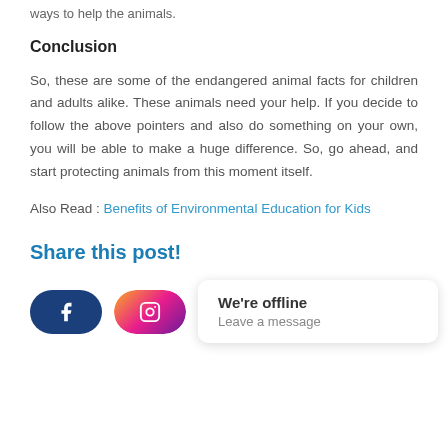ways to help the animals.
Conclusion
So, these are some of the endangered animal facts for children and adults alike. These animals need your help. If you decide to follow the above pointers and also do something on your own, you will be able to make a huge difference. So, go ahead, and start protecting animals from this moment itself.
Also Read : Benefits of Environmental Education for Kids
Share this post!
[Figure (other): Social share buttons: Facebook and Instagram icons, with a chat widget showing 'We're offline / Leave a message' and a green chat bubble icon.]